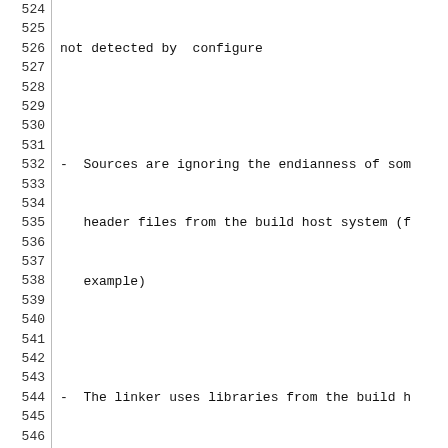524  not detected by  configure
525
526  -  Sources are ignoring the endianness of som
527     header files from the build host system (f
528     example)
529
530  -  The linker uses libraries from the build h
531     `/usr/lib`` for example) by accident
532
533  In all of these cases we must patch the sourc
534  to section :ref:`patching_packages` on how to
535  features to simplify this task.
536
537  In this example we expect the best case: ever
538  cross compiling. So, we can continue with the
539
540  .. code-block:: text
541
542      $ ptxdist install foo
543
544      ------------------------
545      target: foo.install
546      ------------------------
547
548      make[1]: Entering directory `/home/jbe/my
549      make[2]: Entering directory `/home/jbe/my
550      make[3]: Entering directory `/home/jbe/my
551      test -z "/usr/bin" || /bin/mkdir -p "/hom
552        /usr/bin/install -c 'foo' '/home/jbe/my
553      make[3]: Leaving directory `/home/jbe/my
554